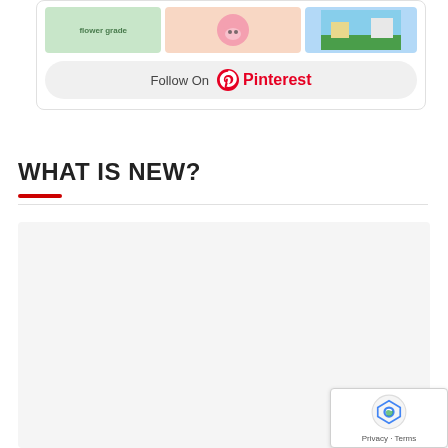[Figure (screenshot): Pinterest widget showing thumbnail images of educational content and a Follow On Pinterest button with Pinterest logo]
WHAT IS NEW?
[Figure (other): Empty/loading content placeholder box with light gray background]
[Figure (other): Google reCAPTCHA badge with Privacy and Terms links]